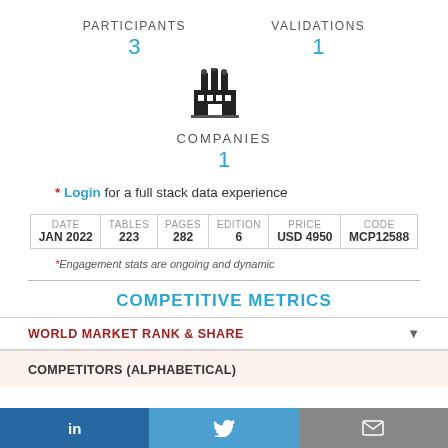PARTICIPANTS 3
VALIDATIONS 1
[Figure (illustration): Factory/industrial buildings icon]
COMPANIES 1
* Login for a full stack data experience
| DATE | TABLES | PAGES | EDITION | PRICE | CODE |
| --- | --- | --- | --- | --- | --- |
| JAN 2022 | 223 | 282 | 6 | USD 4950 | MCP12588 |
*Engagement stats are ongoing and dynamic
COMPETITIVE METRICS
WORLD MARKET RANK & SHARE
COMPETITORS (ALPHABETICAL)
in  [twitter bird]  [mail]